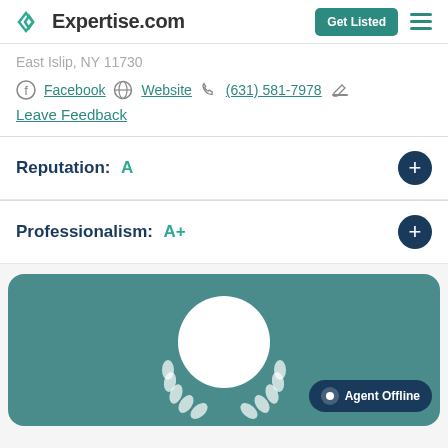Expertise.com
East Islip, NY 11730
Facebook  Website  (631) 581-7978
Leave Feedback
Reputation: A
Professionalism: A+
[Figure (illustration): Teal card with white profile circle silhouette and white laurel wreath decoration, with Agent Offline badge]